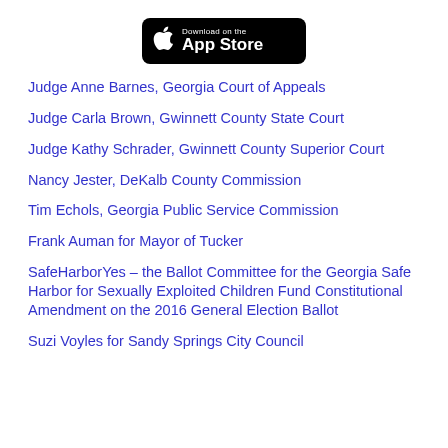[Figure (logo): Download on the App Store badge — black rounded rectangle with Apple logo and text]
Judge Anne Barnes, Georgia Court of Appeals
Judge Carla Brown, Gwinnett County State Court
Judge Kathy Schrader, Gwinnett County Superior Court
Nancy Jester, DeKalb County Commission
Tim Echols, Georgia Public Service Commission
Frank Auman for Mayor of Tucker
SafeHarborYes – the Ballot Committee for the Georgia Safe Harbor for Sexually Exploited Children Fund Constitutional Amendment on the 2016 General Election Ballot
Suzi Voyles for Sandy Springs City Council